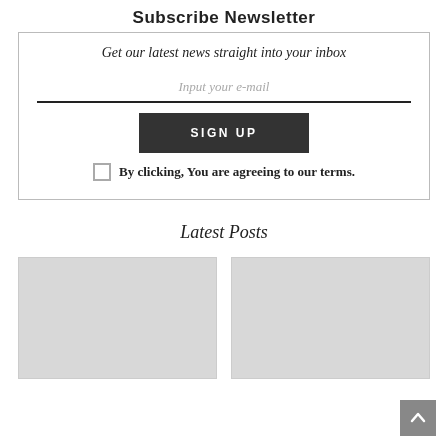Subscribe Newsletter
Get our latest news straight into your inbox
Input your e-mail
SIGN UP
By clicking, You are agreeing to our terms.
Latest Posts
[Figure (photo): Two placeholder image thumbnails for latest posts]
[Figure (other): Back to top arrow button]